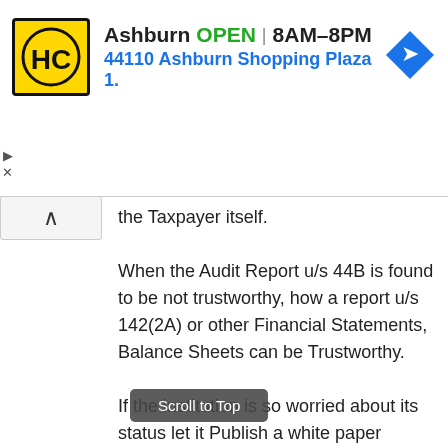[Figure (other): HC auto parts store advertisement banner. Logo shows HC in yellow circle. Text: Ashburn OPEN 8AM-8PM, 44110 Ashburn Shopping Plaza 1. Blue navigation arrow icon on right.]
the Taxpayer itself.
When the Audit Report u/s 44B is found to be not trustworthy, how a report u/s 142(2A) or other Financial Statements, Balance Sheets can be Trustworthy.
If the institution is so worried about its status let it Publish a white paper relating to the Financial Scames happened on account of involvement of the C.A(s), so that public can Trust the Profession and Professionals ( I am sure no such paper will ever be published). Expression of these views does not mean that there r no black sheeps in other Professions.
Scroll to Top